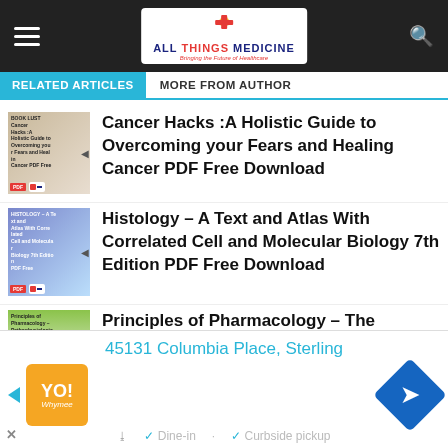ALL THINGS MEDICINE - Bringing the Future of Healthcare
RELATED ARTICLES | MORE FROM AUTHOR
Cancer Hacks :A Holistic Guide to Overcoming your Fears and Healing Cancer PDF Free Download
Histology – A Text and Atlas With Correlated Cell and Molecular Biology 7th Edition PDF Free Download
Principles of Pharmacology – The Pathophysiologic Basis of Drug Therapy
45131 Columbia Place, Sterling